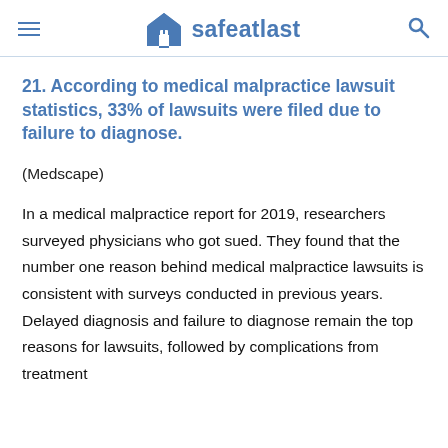safeatlast
21. According to medical malpractice lawsuit statistics, 33% of lawsuits were filed due to failure to diagnose.
(Medscape)
In a medical malpractice report for 2019, researchers surveyed physicians who got sued. They found that the number one reason behind medical malpractice lawsuits is consistent with surveys conducted in previous years. Delayed diagnosis and failure to diagnose remain the top reasons for lawsuits, followed by complications from treatment